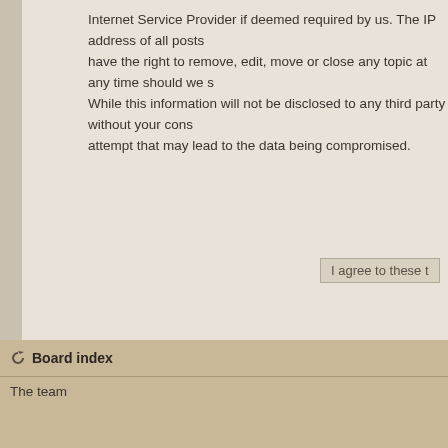Internet Service Provider if deemed required by us. The IP address of all posts have the right to remove, edit, move or close any topic at any time should we s While this information will not be disclosed to any third party without your cons attempt that may lead to the data being compromised.
I agree to these t
Board index
The team